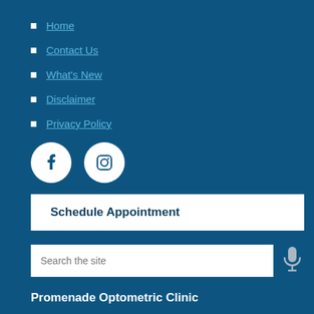Home
Contact Us
What's New
Disclaimer
Privacy Policy
[Figure (illustration): Facebook and Instagram social media icons in white circles on dark blue background]
Schedule Appointment
Search the site
Promenade Optometric Clinic